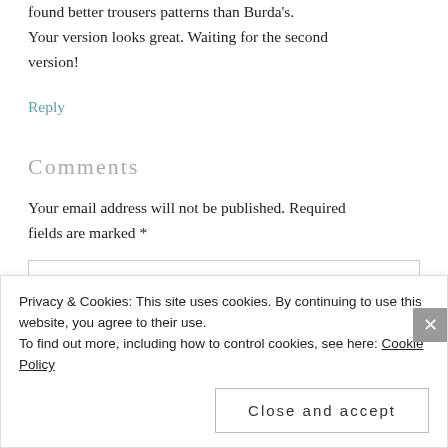found better trousers patterns than Burda's. Your version looks great. Waiting for the second version!
Reply
Comments
Your email address will not be published. Required fields are marked *
COMMENT
Privacy & Cookies: This site uses cookies. By continuing to use this website, you agree to their use.
To find out more, including how to control cookies, see here: Cookie Policy
Close and accept